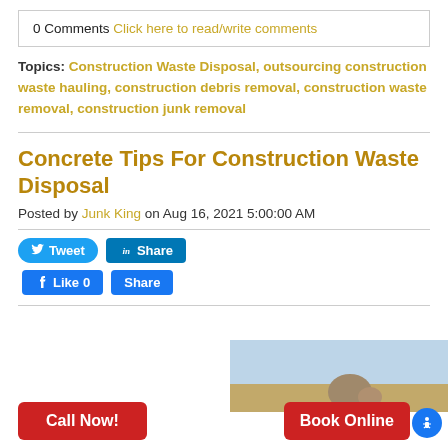0 Comments Click here to read/write comments
Topics: Construction Waste Disposal, outsourcing construction waste hauling, construction debris removal, construction waste removal, construction junk removal
Concrete Tips For Construction Waste Disposal
Posted by Junk King on Aug 16, 2021 5:00:00 AM
[Figure (screenshot): Social share buttons: Tweet (Twitter), Share (LinkedIn), Like 0 Share (Facebook)]
[Figure (photo): Partially visible photo, appears to show outdoor/construction scene with sky]